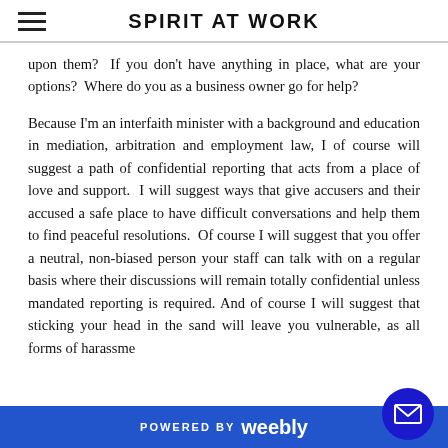SPIRIT AT WORK
upon them?  If you don't have anything in place, what are your options?  Where do you as a business owner go for help?
Because I'm an interfaith minister with a background and education in mediation, arbitration and employment law, I of course will suggest a path of confidential reporting that acts from a place of love and support.  I will suggest ways that give accusers and their accused a safe place to have difficult conversations and help them to find peaceful resolutions.  Of course I will suggest that you offer a neutral, non-biased person your staff can talk with on a regular basis where their discussions will remain totally confidential unless mandated reporting is required. And of course I will suggest that sticking your head in the sand will leave you vulnerable, as all forms of harassme
POWERED BY weebly